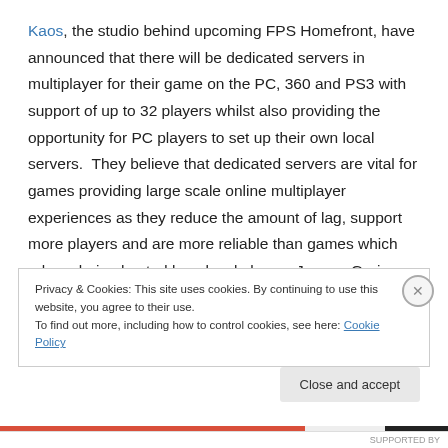Kaos, the studio behind upcoming FPS Homefront, have announced that there will be dedicated servers in multiplayer for their game on the PC, 360 and PS3 with support of up to 32 players whilst also providing the opportunity for PC players to set up their own local servers.  They believe that dedicated servers are vital for games providing large scale online multiplayer experiences as they reduce the amount of lag, support more players and are more reliable than games which rely on being hosted by a local player.  Jeremy Greiner, the
Privacy & Cookies: This site uses cookies. By continuing to use this website, you agree to their use.
To find out more, including how to control cookies, see here: Cookie Policy